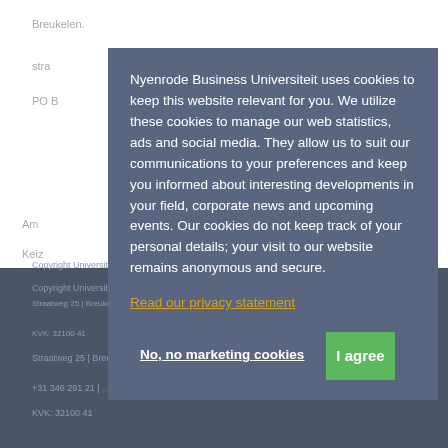Breukelen.
Nyenrode Business Universiteit uses cookies to keep this website relevant for you. We utilize these cookies to manage our web statistics, ads and social media. They allow us to suit our communications to your preferences and keep you informed about interesting developments in your field, corporate news and upcoming events. Our cookies do not keep track of your personal details; your visit to our website remains anonymous and secure.
Read our privacy statement
No, no marketing cookies
I agree
Copyright Universiteit Nyenrode B.V. 2021